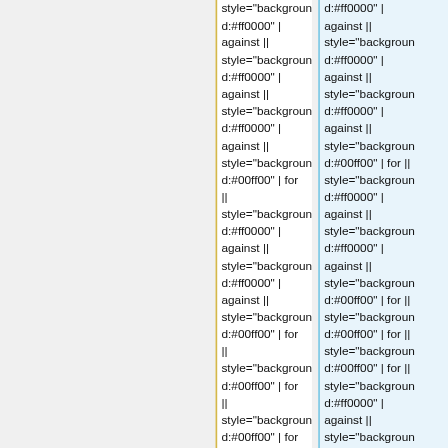style="background:#ff0000" | against || style="background:#ff0000" | against || style="background:#ff0000" | against || style="background:#00ff00" | for || style="background:#ff0000" | against || style="background:#ff0000" | against || style="background:#00ff00" | for || style="background:#00ff00" | for || style="background:#00ff00" | for || style="background:#00ff00" | for || style="background:#ff0000" | against ||
d:#ff0000" | against || style="background:#ff0000" | against || style="background:#ff0000" | against || style="background:#00ff00" | for || style="background:#ff0000" | against || style="background:#ff0000" | against || style="background:#00ff00" | for || style="background:#00ff00" | for || style="background:#00ff00" | for || style="background:#ff0000" | against || style="background